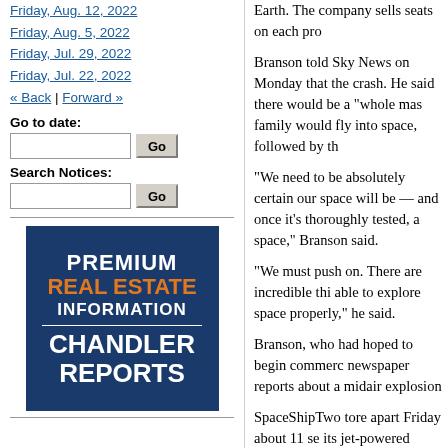Friday, Aug. 12, 2022
Friday, Aug. 5, 2022
Friday, Jul. 29, 2022
Friday, Jul. 22, 2022
« Back | Forward »
Go to date:
Search Notices:
[Figure (infographic): Advertisement box for Chandler Reports Premium Real Estate Information, dark blue background with white and orange text]
Earth. The company sells seats on each pro...
Branson told Sky News on Monday that the... crash. He said there would be a "whole mas..." family would fly into space, followed by th...
"We need to be absolutely certain our space... will be — and once it's thoroughly tested, a... space," Branson said.
"We must push on. There are incredible thi... able to explore space properly," he said.
Branson, who had hoped to begin commerc... newspaper reports about a midair explosion...
SpaceShipTwo tore apart Friday about 11 se... its jet-powered mother ship and fired its roc... speculation was that an explosion occurred,... engine were found and showed no sign of b...
A review of footage from a camera mounte... shows the co-pilot moving the feathering le...
The feathering is a feature unique to the cra... atmosphere. After being unlocked, a lever...